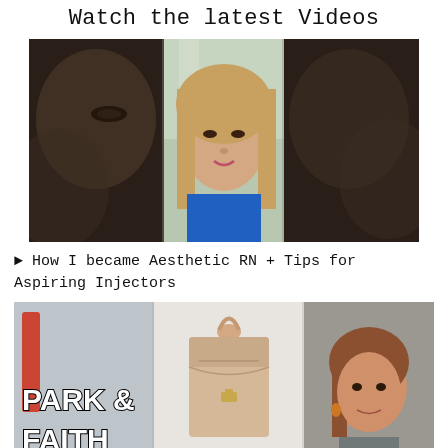Watch the latest Videos
[Figure (photo): Video thumbnail showing a woman with long blonde hair and a woman in the center wearing a blue top, speaking to camera, with blurred background]
▶ How I became Aesthetic RN + Tips for Aspiring Injectors
[Figure (photo): Video thumbnail with bold white text 'PARK & FAITH' on the left, center shows a person holding a beige backpack, and on the right a woman wearing a red headband]